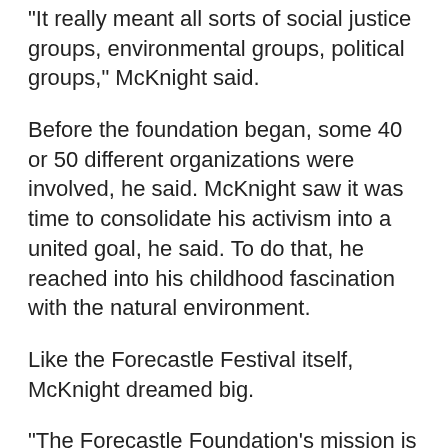“It really meant all sorts of social justice groups, environmental groups, political groups,” McKnight said.
Before the foundation began, some 40 or 50 different organizations were involved, he said. McKnight saw it was time to consolidate his activism into a united goal, he said. To do that, he reached into his childhood fascination with the natural environment.
Like the Forecastle Festival itself, McKnight dreamed big.
“The Forecastle Foundation’s mission is to protect the world’s natural awesome,” McKnight said. “So what that means is we go around the world and we find the most highly threatened, highly critical, most diverse places and work to preserve those for future